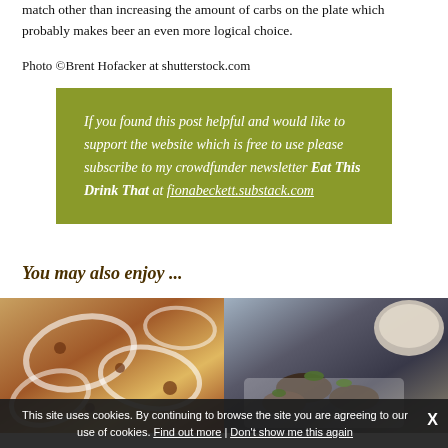match other than increasing the amount of carbs on the plate which probably makes beer an even more logical choice.
Photo ©Brent Hofacker at shutterstock.com
If you found this post helpful and would like to support the website which is free to use please subscribe to my crowdfunder newsletter Eat This Drink That at fionabeckett.substack.com
You may also enjoy ...
[Figure (photo): Left food photo showing a dish with drizzled white sauce and toppings, likely a flatbread or pizza-style dish]
[Figure (photo): Right food photo showing meat dishes garnished with herbs, on a white plate with a bowl in the background]
This site uses cookies. By continuing to browse the site you are agreeing to our use of cookies. Find out more | Don't show me this again